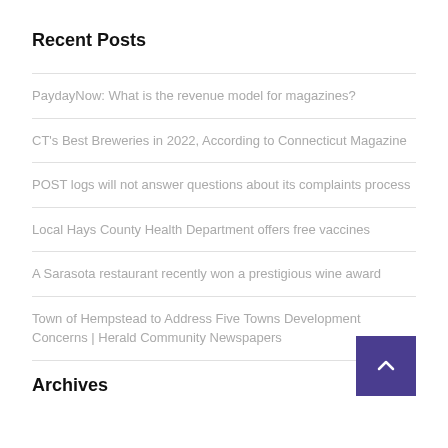Recent Posts
PaydayNow: What is the revenue model for magazines?
CT's Best Breweries in 2022, According to Connecticut Magazine
POST logs will not answer questions about its complaints process
Local Hays County Health Department offers free vaccines
A Sarasota restaurant recently won a prestigious wine award
Town of Hempstead to Address Five Towns Development Concerns | Herald Community Newspapers
Archives